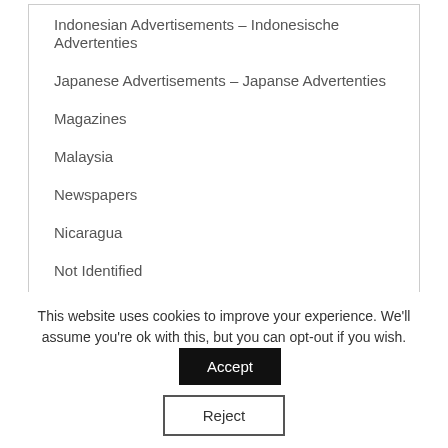Indonesian Advertisements – Indonesische Advertenties
Japanese Advertisements – Japanse Advertenties
Magazines
Malaysia
Newspapers
Nicaragua
Not Identified
NOTXT
Paintings and Art
Portuguese Advertisements – Portugese Advertenties
Product Folder
This website uses cookies to improve your experience. We'll assume you're ok with this, but you can opt-out if you wish. Accept Reject